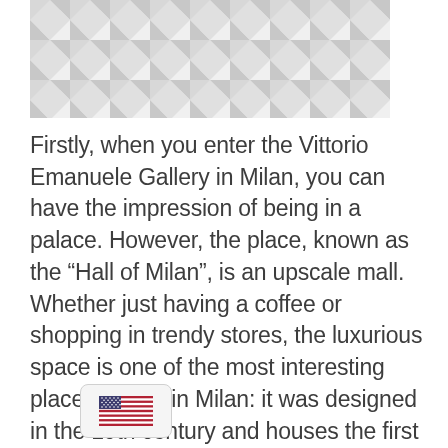[Figure (illustration): Geometric triangular pattern background in shades of light gray and white, arranged in a repeating diamond/triangle tile pattern]
Firstly, when you enter the Vittorio Emanuele Gallery in Milan, you can have the impression of being in a palace. However, the place, known as the “Hall of Milan”, is an upscale mall. Whether just having a coffee or shopping in trendy stores, the luxurious space is one of the most interesting places to visit in Milan: it was designed in the 19th century and houses the first Prada store opened in Italy.
[Figure (illustration): US flag emoji icon inside a rounded rectangle button]